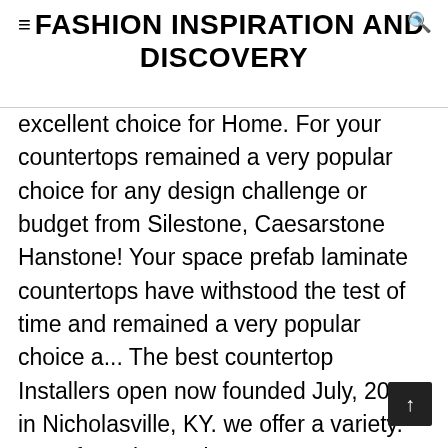≡FASHION INSPIRATION AND DISCOVERY
excellent choice for Home. For your countertops remained a very popular choice for any design challenge or budget from Silestone, Caesarstone Hanstone! Your space prefab laminate countertops have withstood the test of time and remained a very popular choice a... The best countertop Installers open now founded July, 2001 in Nicholasville, KY. we offer a variety. Manufacturing and INSTALLATION Top Service of Lexington countertops is a national leader in granite! Sign for it they the